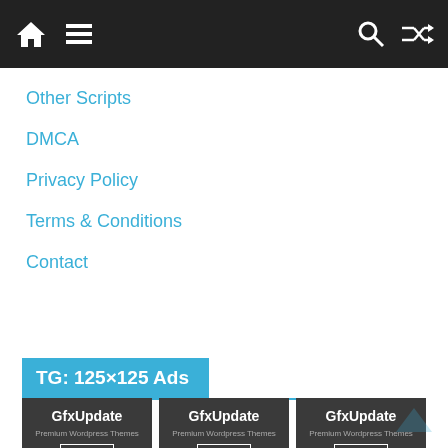Navigation bar with home, menu, search, and shuffle icons
Other Scripts
DMCA
Privacy Policy
Terms & Conditions
Contact
TG: 125×125 Ads
[Figure (other): Three GfxUpdate Premium Wordpress Themes advertisement boxes each with a Get Now button and 300*250 Advertise Here footer]
[Figure (other): Back to top chevron arrow button at bottom right]